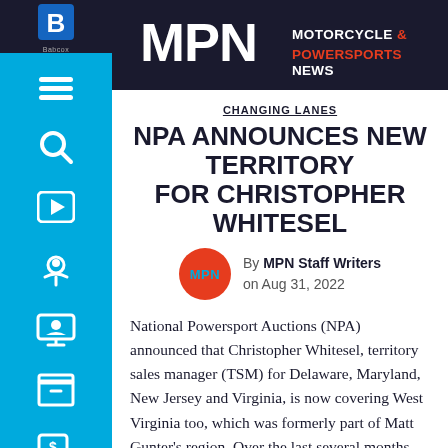MPN Motorcycle & Powersports News
CHANGING LANES
NPA ANNOUNCES NEW TERRITORY FOR CHRISTOPHER WHITESEL
By MPN Staff Writers on Aug 31, 2022
National Powersport Auctions (NPA) announced that Christopher Whitesel, territory sales manager (TSM) for Delaware, Maryland, New Jersey and Virginia, is now covering West Virginia too, which was formerly part of Matt Gunter's region. Over the last several months, NPA has expanded its